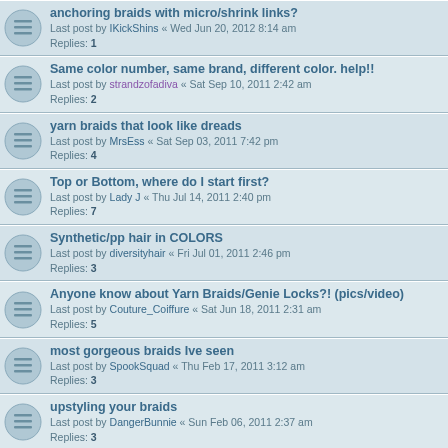anchoring braids with micro/shrink links? | Last post by IKickShins « Wed Jun 20, 2012 8:14 am | Replies: 1
Same color number, same brand, different color. help!! | Last post by strandzofadiva « Sat Sep 10, 2011 2:42 am | Replies: 2
yarn braids that look like dreads | Last post by MrsEss « Sat Sep 03, 2011 7:42 pm | Replies: 4
Top or Bottom, where do I start first? | Last post by Lady J « Thu Jul 14, 2011 2:40 pm | Replies: 7
Synthetic/pp hair in COLORS | Last post by diversityhair « Fri Jul 01, 2011 2:46 pm | Replies: 3
Anyone know about Yarn Braids/Genie Locks?! (pics/video) | Last post by Couture_Coiffure « Sat Jun 18, 2011 2:31 am | Replies: 5
most gorgeous braids Ive seen | Last post by SpookSquad « Thu Feb 17, 2011 3:12 am | Replies: 3
upstyling your braids | Last post by DangerBunnie « Sun Feb 06, 2011 2:37 am | Replies: 3
Braid video binge | Last post by Lady J « Wed Feb 02, 2011 4:13 pm | Replies: 5
where can i get a braid sealer | Last post by madebs666 « Sun Jan 30, 2011 12:16 am | Replies: 12